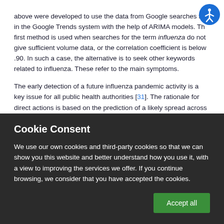above were developed to use the data from Google searches for in the Google Trends system with the help of ARIMA models. The first method is used when searches for the term influenza do not give sufficient volume data, or the correlation coefficient is below .90. In such a case, the alternative is to seek other keywords related to influenza. These refer to the main symptoms.
The early detection of a future influenza pandemic activity is a key issue for all public health authorities [31]. The rationale for direct actions is based on the prediction of a likely spread across Europe and triggering of national operational plans. Therefore, an early
Cookie Consent
We use our own cookies and third-party cookies so that we can show you this website and better understand how you use it, with a view to improving the services we offer. If you continue browsing, we consider that you have accepted the cookies.